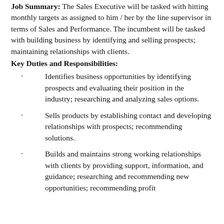Job Summary: The Sales Executive will be tasked with hitting monthly targets as assigned to him / her by the line supervisor in terms of Sales and Performance. The incumbent will be tasked with building business by identifying and selling prospects; maintaining relationships with clients.
Key Duties and Responsibilities:
Identifies business opportunities by identifying prospects and evaluating their position in the industry; researching and analyzing sales options.
Sells products by establishing contact and developing relationships with prospects; recommending solutions.
Builds and maintains strong working relationships with clients by providing support, information, and guidance; researching and recommending new opportunities; recommending profit